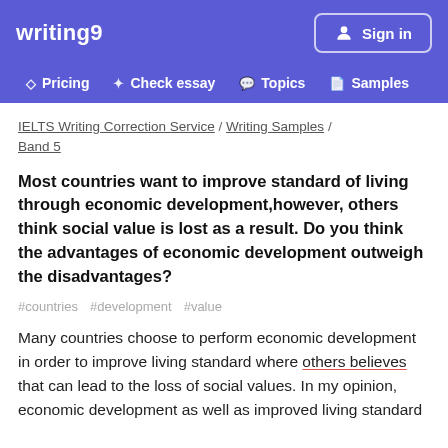writing9
IELTS Writing Correction Service / Writing Samples / Band 5
Most countries want to improve standard of living through economic development,however, others think social value is lost as a result. Do you think the advantages of economic development outweigh the disadvantages?
#countries #development #value
Many countries choose to perform economic development in order to improve living standard where others believes that can lead to the loss of social values. In my opinion, economic development as well as improved living standard